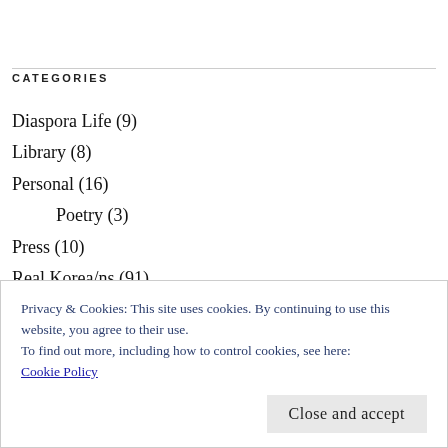CATEGORIES
Diaspora Life (9)
Library (8)
Personal (16)
Poetry (3)
Press (10)
Real Korea/ns (91)
Art & Culture (7)
Privacy & Cookies: This site uses cookies. By continuing to use this website, you agree to their use.
To find out more, including how to control cookies, see here: Cookie Policy
Close and accept
Rainbow Union (?)